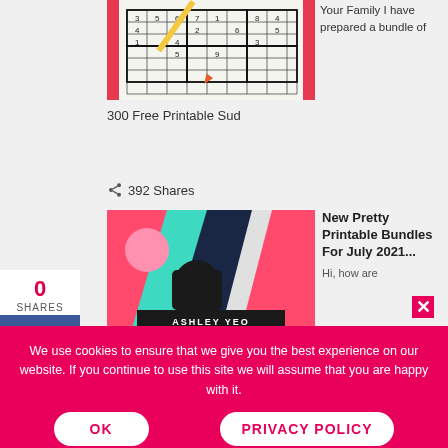[Figure (photo): Sudoku puzzle printable with pencil on top, red border]
Your Family I have prepared a bundle of
300 Free Printable Sud
392 Shares
[Figure (photo): Colorful craft/art supplies with ASHLEY YEO watermark, bright pink, teal, navy colors]
New Pretty Printable Bundles For July 2021... Hi, how are
We use cookies to ensure that we give you the best experience on our website. If you continue to use this site we will assume that you are happy with it.
OK
PRIVACY POLICY